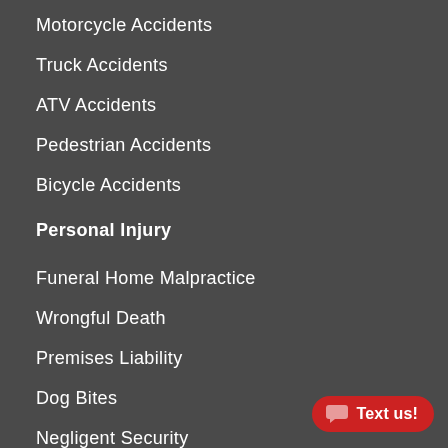Motorcycle Accidents
Truck Accidents
ATV Accidents
Pedestrian Accidents
Bicycle Accidents
Personal Injury
Funeral Home Malpractice
Wrongful Death
Premises Liability
Dog Bites
Negligent Security